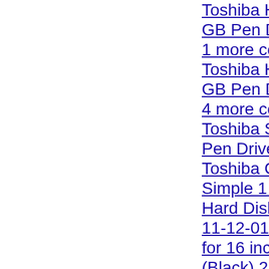Toshiba Hayabusa 16 GB Pen Drive (White) 1 more combo Toshiba Hayabusa 8 GB Pen Drive (White) 4 more combos Toshiba Suruga 8 GB Pen Drive (Black) Toshiba Canvio Simple 1 TB External Hard Disk Toshiba IT-11-12-010 Backpack for 16 inch Laptop (Black) 2 more combos Toshiba HDD External Hard Disk Cover (For All Brand of... Toshiba Canvio...